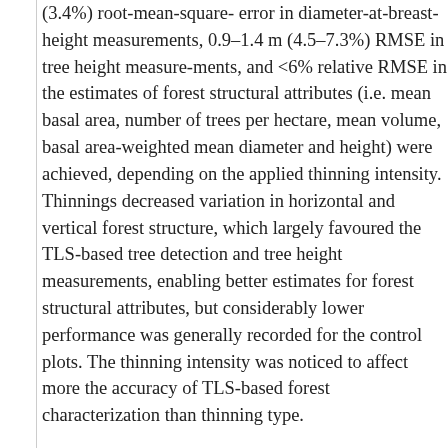(3.4%) root-mean-square- error in diameter-at-breast-height measurements, 0.9–1.4 m (4.5–7.3%) RMSE in tree height measurements, and <6% relative RMSE in the estimates of forest structural attributes (i.e. mean basal area, number of trees per hectare, mean volume, basal area-weighted mean diameter and height) were achieved, depending on the applied thinning intensity. Thinnings decreased variation in horizontal and vertical forest structure, which largely favoured the TLS-based tree detection and tree height measurements, enabling better estimates for forest structural attributes, but considerably lower performance was generally recorded for the control plots. The thinning intensity was noticed to affect more the accuracy of TLS-based forest characterization than thinning type.